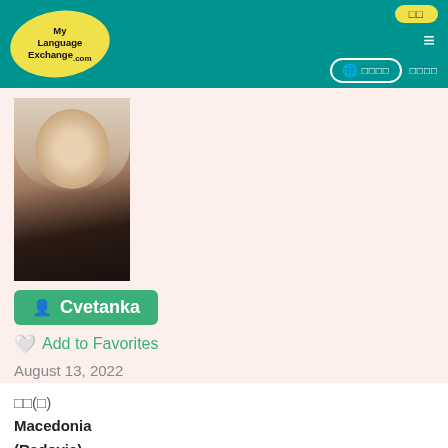MyLanguageExchange.com — 로그인 | 메뉴 | 언어설정 | 회원가입
[Figure (photo): Profile photo of Cvetanka, a young woman with blonde hair wearing a black off-shoulder top, smiling]
Cvetanka
Add to Favorites
August 13, 2022
위치(나) Macedonia (Radovis)
성별 여성임
연령대 □□